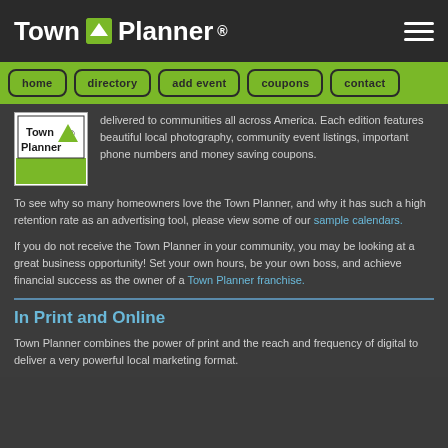Town Planner
[Figure (screenshot): Town Planner navigation bar with buttons: home, directory, add event, coupons, contact]
[Figure (logo): Town Planner logo - black and white with green stripe]
delivered to communities all across America. Each edition features beautiful local photography, community event listings, important phone numbers and money saving coupons.
To see why so many homeowners love the Town Planner, and why it has such a high retention rate as an advertising tool, please view some of our sample calendars.
If you do not receive the Town Planner in your community, you may be looking at a great business opportunity! Set your own hours, be your own boss, and achieve financial success as the owner of a Town Planner franchise.
In Print and Online
Town Planner combines the power of print and the reach and frequency of digital to deliver a very powerful local marketing format.